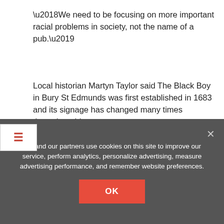‘We need to be focusing on more important racial problems in society, not the name of a pub.’
Local historian Martyn Taylor said The Black Boy in Bury St Edmunds was first established in 1683 and its signage has changed many times throughout history.
He told Suffolk News that while it was once a ‘non-PC sign of natives surrounding a large pot with its obvious connotation’ – it now depicts King Charles II.
He said: ‘Slavery is an abhorrent thing but we can’t change history.’
We and our partners use cookies on this site to improve our service, perform analytics, personalize advertising, measure advertising performance, and remember website preferences.